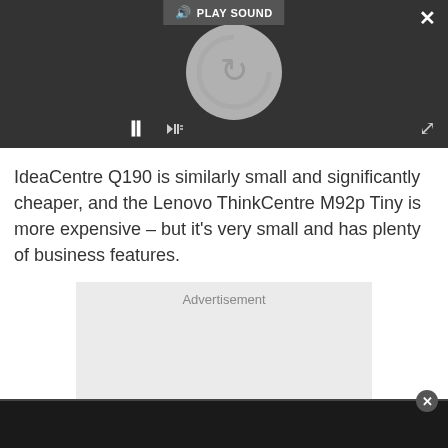[Figure (screenshot): Video/media player UI with dark background showing a circular loading/play spinner, pause button, sound controls, PLAY SOUND label, close (X) button, and expand arrows.]
IdeaCentre Q190 is similarly small and significantly cheaper, and the Lenovo ThinkCentre M92p Tiny is more expensive – but it's very small and has plenty of business features.
Advertisement